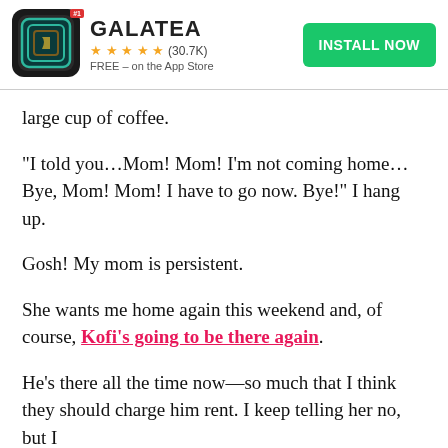[Figure (screenshot): Galatea app banner with icon, star rating (30.7K), FREE on the App Store, and green INSTALL NOW button]
large cup of coffee.
“I told you…Mom! Mom! I’m not coming home… Bye, Mom! Mom! I have to go now. Bye!” I hang up.
Gosh! My mom is persistent.
She wants me home again this weekend and, of course, Kofi’s going to be there again.
He’s there all the time now—so much that I think they should charge him rent. I keep telling her no, but I